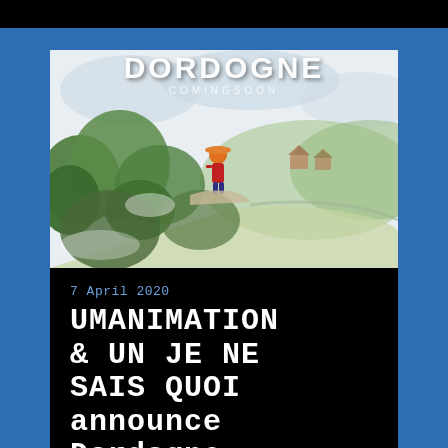[Figure (illustration): Dordogne video game promotional artwork showing a watercolor-style landscape with a figure in a red outfit on a hillside overlooking green trees and river valley. Title 'DORDOGNE' and 'COMING SOON' text overlay at top.]
7 April 2020
UMANIMATION & UN JE NE SAIS QUOI announce Dordogne